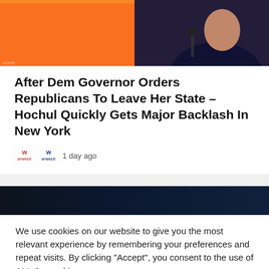[Figure (photo): Top portion of a news article hero image showing an orange background on the left and a woman at a microphone on the right against a dark background]
After Dem Governor Orders Republicans To Leave Her State – Hochul Quickly Gets Major Backlash In New York
1 day ago
[Figure (photo): Dark blue gradient image strip, second article or section thumbnail]
We use cookies on our website to give you the most relevant experience by remembering your preferences and repeat visits. By clicking “Accept”, you consent to the use of ALL the cookies.
Cookie Settings   ACCEPT